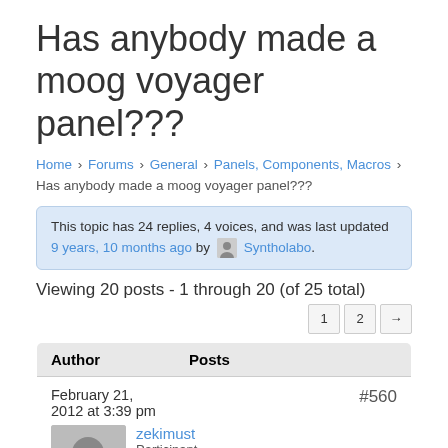Has anybody made a moog voyager panel???
Home › Forums › General › Panels, Components, Macros › Has anybody made a moog voyager panel???
This topic has 24 replies, 4 voices, and was last updated 9 years, 10 months ago by Syntholabo.
Viewing 20 posts - 1 through 20 (of 25 total)
| Author | Posts |
| --- | --- |
| February 21, 2012 at 3:39 pm | #560 |
| zekimust
Participant
Topics: 1 |  |
zekimust
Participant
Topics: 1